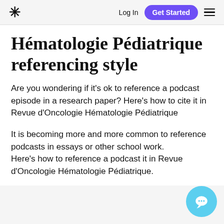Log In  Get Started
Hématologie Pédiatrique referencing style
Are you wondering if it's ok to reference a podcast episode in a research paper? Here's how to cite it in Revue d'Oncologie Hématologie Pédiatrique
It is becoming more and more common to reference podcasts in essays or other school work.
Here's how to reference a podcast it in Revue d'Oncologie Hématologie Pédiatrique.